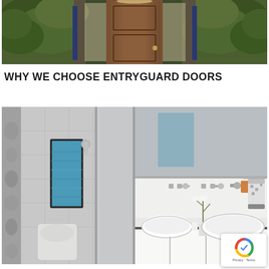[Figure (photo): Photo of a home entrance with a wooden front door, flanked by lush green ivy-covered walls and decorative metalwork on either side.]
WHY WE CHOOSE ENTRYGUARD DOORS
[Figure (photo): Photo of a modern luxury bathroom with a double vanity featuring two white vessel sinks, wall-mounted faucets, a large mirror, white orchid flowers, and a glass-enclosed shower area with a blue frosted window.]
[Figure (other): Google reCAPTCHA badge widget with logo and Privacy - Terms text.]